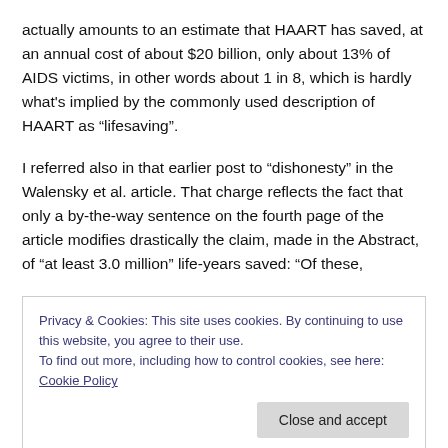actually amounts to an estimate that HAART has saved, at an annual cost of about $20 billion, only about 13% of AIDS victims, in other words about 1 in 8, which is hardly what's implied by the commonly used description of HAART as “lifesaving”.
I referred also in that earlier post to “dishonesty” in the Walensky et al. article. That charge reflects the fact that only a by-the-way sentence on the fourth page of the article modifies drastically the claim, made in the Abstract, of “at least 3.0 million” life-years saved: “Of these,
Privacy & Cookies: This site uses cookies. By continuing to use this website, you agree to their use.
To find out more, including how to control cookies, see here: Cookie Policy
combination ART, at least 3 million years of life